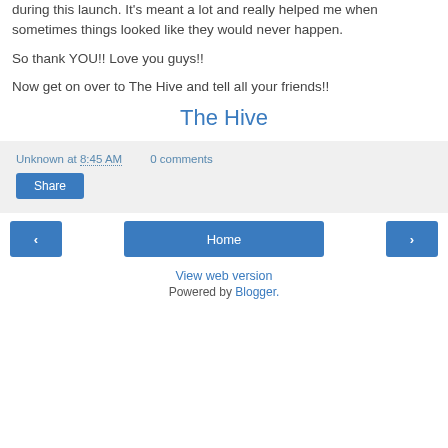during this launch. It's meant a lot and really helped me when sometimes things looked like they would never happen.
So thank YOU!! Love you guys!!
Now get on over to The Hive and tell all your friends!!
The Hive
Unknown at 8:45 AM   0 comments
Share
‹
Home
›
View web version
Powered by Blogger.